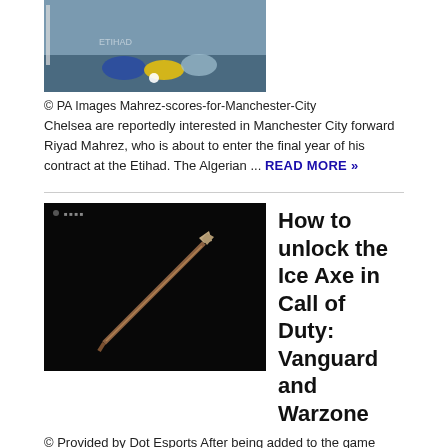[Figure (photo): Soccer match photo showing player scoring, Manchester City themed]
© PA Images Mahrez-scores-for-Manchester-City
Chelsea are reportedly interested in Manchester City forward Riyad Mahrez, who is about to enter the final year of his contract at the Etihad. The Algerian ...
READ MORE »
[Figure (photo): Dark background with an ice axe melee weapon from Call of Duty: Vanguard and Warzone]
How to unlock the Ice Axe in Call of Duty: Vanguard and Warzone
© Provided by Dot Esports After being added to the game several months ago, the Ice Axe melee weapon is now finally unlockable with an in-game challenge in Call of ...
READ MORE »